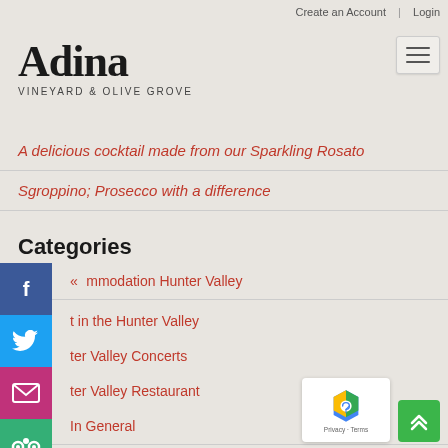Create an Account | Login
[Figure (logo): Adina Vineyard & Olive Grove logo with stylized text and hamburger menu button]
A delicious cocktail made from our Sparkling Rosato
Sgroppino; Prosecco with a difference
Categories
Accommodation Hunter Valley
Art in the Hunter Valley
Hunter Valley Concerts
Hunter Valley Restaurant
In General
Olive Grove Information
olive oil products hunter valley
Wine